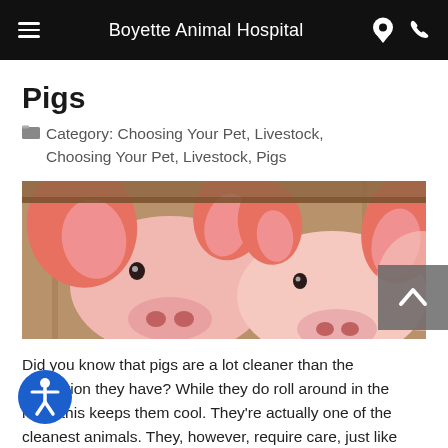Boyette Animal Hospital
Pigs
Category: Choosing Your Pet, Livestock, Choosing Your Pet, Livestock, Pigs
[Figure (photo): Close-up photo of several young pink pigs looking forward through wooden fence rails]
Did you know that pigs are a lot cleaner than the reputation they have? While they do roll around in the mud, this keeps them cool. They're actually one of the cleanest animals. They, however, require care, just like any animal. Before you take on more than you can handle, you should educate yourself
READ MORE